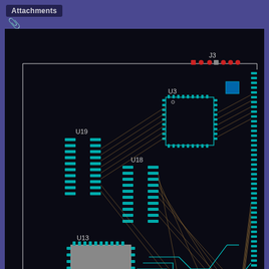Attachments
[Figure (circuit-diagram): PCB routing diagram showing multiple integrated circuit components (U1, U2, U3, U13, U18, U19) on a black background with cyan/teal colored traces and ratsnest lines. Connector J3 visible at top right with red connector pins. Components connected by diagonal routing lines in tan/gold color.]
routing.png (33.09 KiB; 972 views)
© GPL-2.0-or-later
2021-07-01, 08:32
Bondi